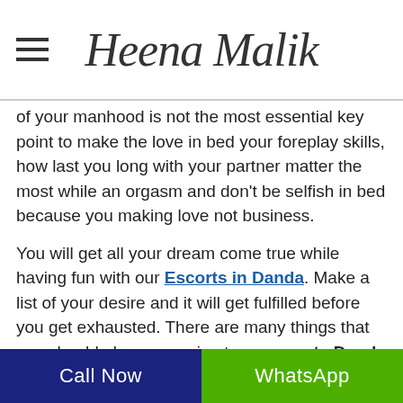Heena Malik
of your manhood is not the most essential key point to make the love in bed your foreplay skills, how last you long with your partner matter the most while an orgasm and don't be selfish in bed because you making love not business.
You will get all your dream come true while having fun with our Escorts in Danda. Make a list of your desire and it will get fulfilled before you get exhausted. There are many things that you should plan on coming to our escorts Danda and be confident while having service because our escort girl knows how to read body language.
Call Now | WhatsApp